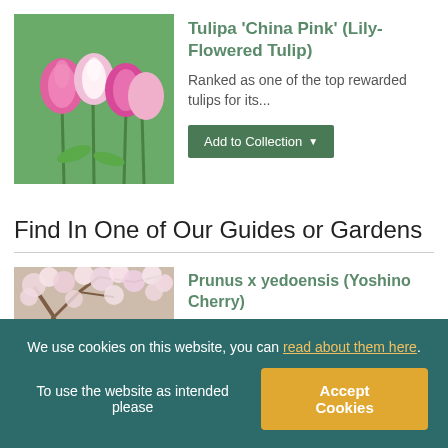[Figure (photo): Photo of pink and white lily-flowered tulips in a garden with green foliage background]
Tulipa 'China Pink' (Lily-Flowered Tulip)
Ranked as one of the top rewarded tulips for its...
Find In One of Our Guides or Gardens
[Figure (photo): Photo of Yoshino Cherry tree in bloom with white/pink blossoms]
Prunus x yedoensis (Yoshino Cherry)
We use cookies on this website, you can read about them here. To use the website as intended please Accept Cookies